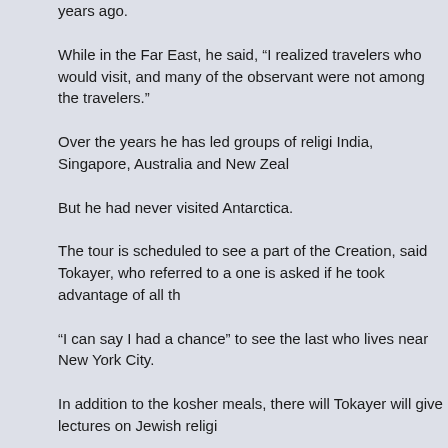years ago.
While in the Far East, he said, “I realized travelers who would visit, and many of the observant were not among the travelers.”
Over the years he has led groups of religi India, Singapore, Australia and New Zeal
But he had never visited Antarctica.
The tour is scheduled to see a part of the Creation, said Tokayer, who referred to a one is asked if he took advantage of all th
“I can say I had a chance” to see the last who lives near New York City.
In addition to the kosher meals, there will Tokayer will give lectures on Jewish religi
Tokayer said 50 people will participate in t cruise ship equipped with a kosher kitche concerns a large tour would present.
The tour, organized by Lotus Tours of New